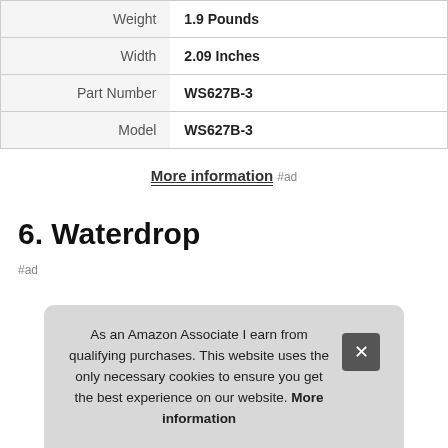| Attribute | Value |
| --- | --- |
| Weight | 1.9 Pounds |
| Width | 2.09 Inches |
| Part Number | WS627B-3 |
| Model | WS627B-3 |
More information #ad
6. Waterdrop
#ad
As an Amazon Associate I earn from qualifying purchases. This website uses the only necessary cookies to ensure you get the best experience on our website. More information